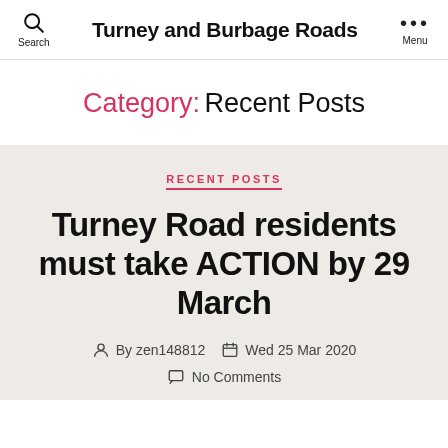Turney and Burbage Roads
Category: Recent Posts
RECENT POSTS
Turney Road residents must take ACTION by 29 March
By zen148812  Wed 25 Mar 2020
No Comments